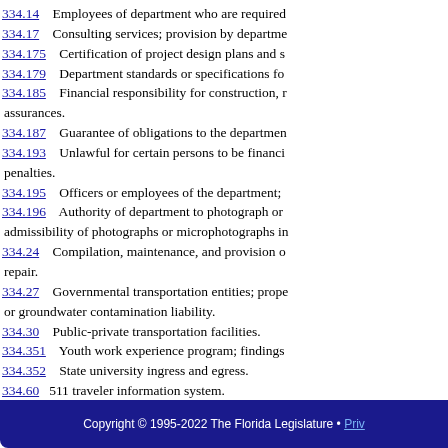334.14   Employees of department who are required
334.17   Consulting services; provision by departme
334.175   Certification of project design plans and s
334.179   Department standards or specifications fo
334.185   Financial responsibility for construction, r assurances.
334.187   Guarantee of obligations to the departmen
334.193   Unlawful for certain persons to be financi penalties.
334.195   Officers or employees of the department;
334.196   Authority of department to photograph or admissibility of photographs or microphotographs in
334.24   Compilation, maintenance, and provision o repair.
334.27   Governmental transportation entities; prope or groundwater contamination liability.
334.30   Public-private transportation facilities.
334.351   Youth work experience program; findings
334.352   State university ingress and egress.
334.60   511 traveler information system.
Copyright © 1995-2022 The Florida Legislature • Priv